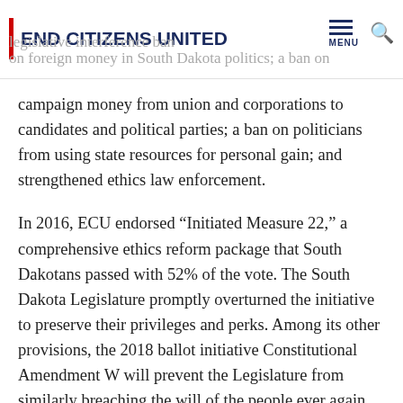END CITIZENS UNITED
legislative interference ban on foreign money in South Dakota politics; a ban on campaign money from union and corporations to candidates and political parties; a ban on politicians from using state resources for personal gain; and strengthened ethics law enforcement.
In 2016, ECU endorsed “Initiated Measure 22,” a comprehensive ethics reform package that South Dakotans passed with 52% of the vote. The South Dakota Legislature promptly overturned the initiative to preserve their privileges and perks. Among its other provisions, the 2018 ballot initiative Constitutional Amendment W will prevent the Legislature from similarly breaching the will of the people ever again.
“Our grassroots members in South Dakota are ready to